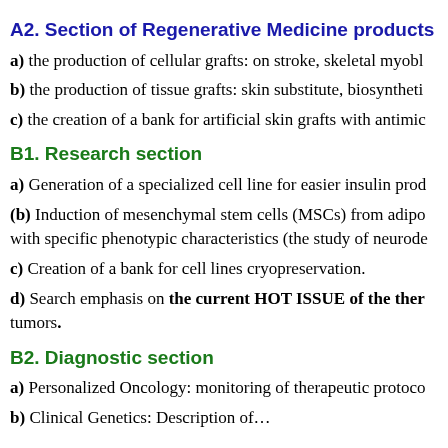A2. Section of Regenerative Medicine products
a) the production of cellular grafts: on stroke, skeletal myobl…
b) the production of tissue grafts: skin substitute, biosyntheti…
c) the creation of a bank for artificial skin grafts with antimic…
B1. Research section
a) Generation of a specialized cell line for easier insulin prod…
(b) Induction of mesenchymal stem cells (MSCs) from adipo… with specific phenotypic characteristics (the study of neurode…
c) Creation of a bank for cell lines cryopreservation.
d) Search emphasis on the current HOT ISSUE of the ther… tumors.
B2. Diagnostic section
a) Personalized Oncology: monitoring of therapeutic protoco…
b) Clinical Genetics: Description of…